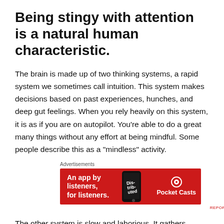Being stingy with attention is a natural human characteristic.
The brain is made up of two thinking systems, a rapid system we sometimes call intuition. This system makes decisions based on past experiences, hunches, and deep gut feelings. When you rely heavily on this system, it is as if you are on autopilot. You’re able to do a great many things without any effort at being mindful. Some people describe this as a “mindless” activity.
[Figure (other): Advertisement banner for Pocket Casts app. Red background with text 'An app by listeners, for listeners.' and a phone image showing 'Distributed' text, and the Pocket Casts logo.]
The other system is slow and laborious. It gathers